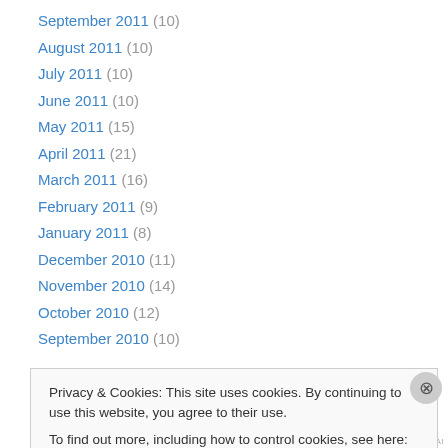September 2011 (10)
August 2011 (10)
July 2011 (10)
June 2011 (10)
May 2011 (15)
April 2011 (21)
March 2011 (16)
February 2011 (9)
January 2011 (8)
December 2010 (11)
November 2010 (14)
October 2010 (12)
September 2010 (10)
Privacy & Cookies: This site uses cookies. By continuing to use this website, you agree to their use. To find out more, including how to control cookies, see here: Cookie Policy
Close and accept